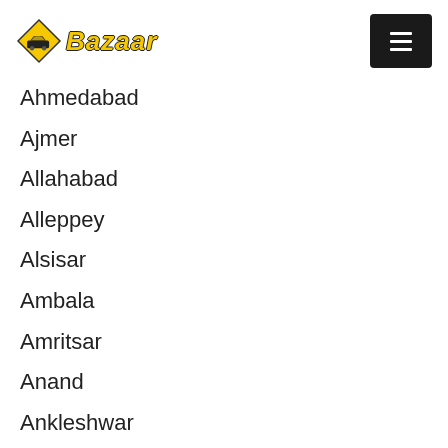[Figure (logo): Taxi Bazaar logo with yellow diamond shape containing a taxi car silhouette and bold italic 'Bazaar' text in yellow with black outline, plus hamburger menu button on the right]
Ahmedabad
Ajmer
Allahabad
Alleppey
Alsisar
Ambala
Amritsar
Anand
Ankleshwar
Aurangabad
Bagdogra
Baiguney